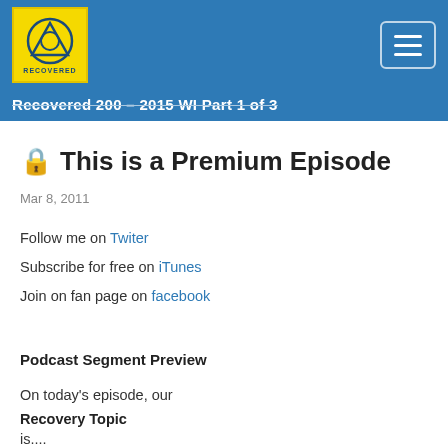Recovered 200 - 2015 WI Part 1 of 3
🔒 This is a Premium Episode
Mar 8, 2011
Follow me on Twiter
Subscribe for free on iTunes
Join on fan page on facebook
Podcast Segment Preview
On today's episode, our
Recovery Topic
is....